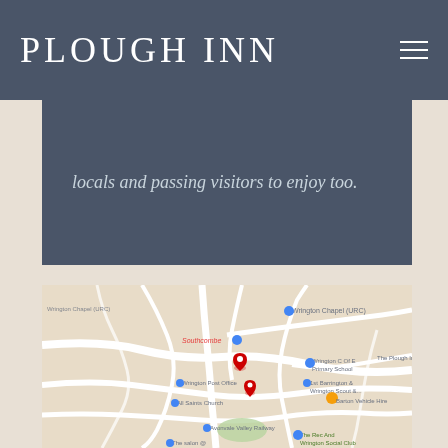PLOUGH INN
locals and passing visitors to enjoy too.
[Figure (map): Google Maps view of Wrington village showing The Plough Inn location with red map pin markers, nearby landmarks including Wrington Chapel (URC), Southcombe, Wrington C of E Primary School, 1st Barrington & Wrington Scout, Wrington Post Office, All Saints Church, Barton Vehicle Hire, Avonvale Valley Railway, The Rec And Wrington Social Club]